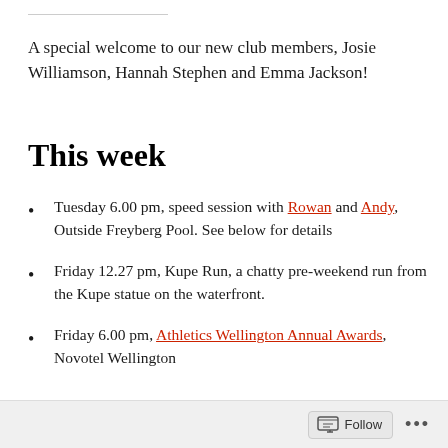A special welcome to our new club members, Josie Williamson, Hannah Stephen and Emma Jackson!
This week
Tuesday 6.00 pm, speed session with Rowan and Andy, Outside Freyberg Pool. See below for details
Friday 12.27 pm, Kupe Run, a chatty pre-weekend run from the Kupe statue on the waterfront.
Friday 6.00 pm, Athletics Wellington Annual Awards, Novotel Wellington
Follow